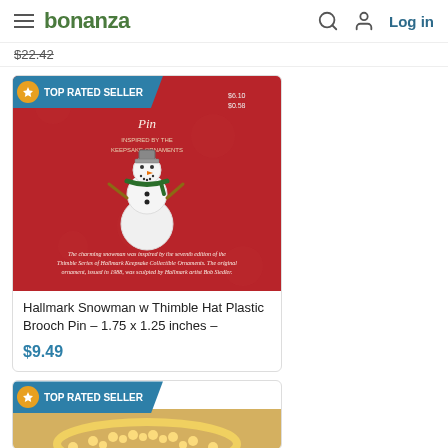bonanza — Log in
$22.42
[Figure (photo): Hallmark Snowman with Thimble Hat Plastic Brooch Pin on red Hallmark card background, showing a white snowman with green scarf and orange-topped thimble hat]
Hallmark Snowman w Thimble Hat Plastic Brooch Pin – 1.75 x 1.25 inches –
$9.49
[Figure (photo): Second product thumbnail showing a gold rhinestone bracelet, with TOP RATED SELLER badge]